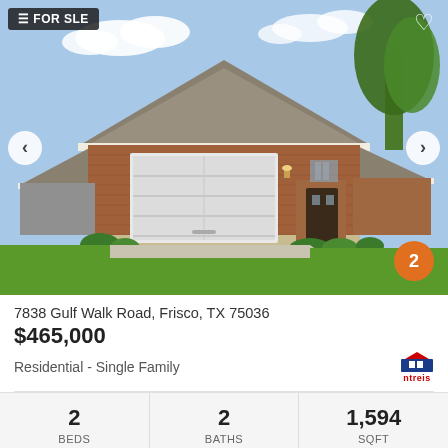[Figure (photo): Exterior photo of a brick single-family home in Frisco, TX with a two-car garage, concrete driveway, green lawn, and blue sky with clouds. Navigation arrows on left and right sides, orange circle with '2' in bottom right corner.]
7838 Gulf Walk Road, Frisco, TX 75036
$465,000
Residential - Single Family
| BEDS | BATHS | sqft |
| --- | --- | --- |
| 2 | 2 | 1,594 |